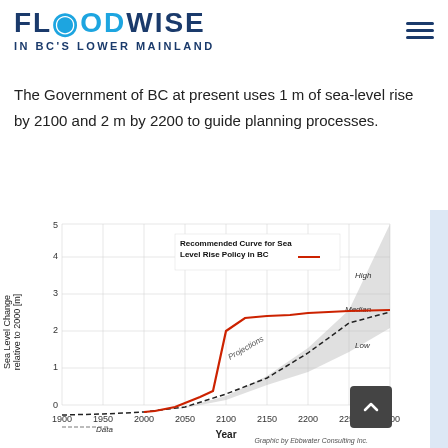FLOODWISE IN BC'S LOWER MAINLAND
The Government of BC at present uses 1 m of sea-level rise by 2100 and 2 m by 2200 to guide planning processes.
[Figure (continuous-plot): Line chart showing sea level change relative to 2000 from 1900 to 2300. A red curve shows the Recommended Curve for Sea Level Rise Policy in BC. A dashed black median line rises to about 3.5m by 2300. A grey shaded band shows High and Low projections. Historical data shown before 2000.]
Graphic by Ebbwater Consulting Inc.